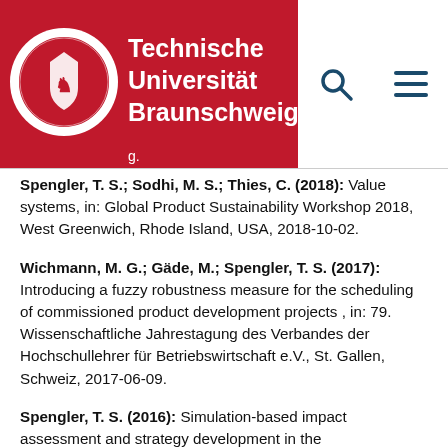Technische Universität Braunschweig
Spengler, T. S.; Sodhi, M. S.; Thies, C. (2018): Value systems, in: Global Product Sustainability Workshop 2018, West Greenwich, Rhode Island, USA, 2018-10-02.
Wichmann, M. G.; Gäde, M.; Spengler, T. S. (2017): Introducing a fuzzy robustness measure for the scheduling of commissioned product development projects , in: 79. Wissenschaftliche Jahrestagung des Verbandes der Hochschullehrer für Betriebswirtschaft e.V., St. Gallen, Schweiz, 2017-06-09.
Spengler, T. S. (2016): Simulation-based impact assessment and strategy development in the …